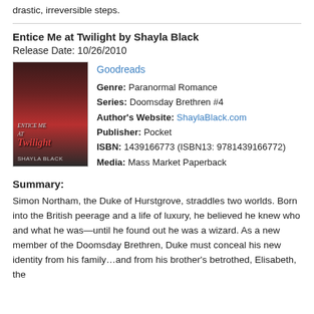drastic, irreversible steps.
Entice Me at Twilight by Shayla Black
Release Date: 10/26/2010
[Figure (photo): Book cover of Entice Me at Twilight by Shayla Black, showing a shirtless man with dark background and red title text]
Goodreads
Genre: Paranormal Romance
Series: Doomsday Brethren #4
Author's Website: ShaylaBlack.com
Publisher: Pocket
ISBN: 1439166773 (ISBN13: 9781439166772)
Media: Mass Market Paperback
Summary:
Simon Northam, the Duke of Hurstgrove, straddles two worlds. Born into the British peerage and a life of luxury, he believed he knew who and what he was—until he found out he was a wizard. As a new member of the Doomsday Brethren, Duke must conceal his new identity from his family…and from his brother's betrothed, Elisabeth, the